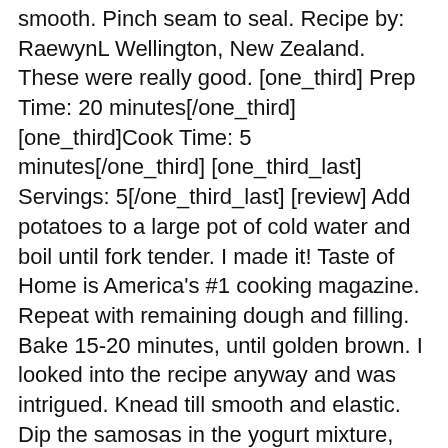smooth. Pinch seam to seal. Recipe by: RaewynL Wellington, New Zealand. These were really good. [one_third] Prep Time: 20 minutes[/one_third] [one_third]Cook Time: 5 minutes[/one_third] [one_third_last] Servings: 5[/one_third_last] [review] Add potatoes to a large pot of cold water and boil until fork tender. I made it! Taste of Home is America's #1 cooking magazine. Repeat with remaining dough and filling. Bake 15-20 minutes, until golden brown. I looked into the recipe anyway and was intrigued. Knead till smooth and elastic. Dip the samosas in the yogurt mixture, then dredge in flour, and shake off the excess. 3) Add extra flour, as needed, to keep the dough from being sticky. 1 (16 ounce) package frozen phyllo dough, thawed. Add the onion, and cook until browned. Roughly chop the cilantro, garlic, jalapeño, mint leaves, and add another 1/4 cup water. For guests, serve each person a small cup of their own dipping sauce and several samosas on a plate for Iftar. Preheat oven to 350F. Cook and stir until most of the liquid has evaporated. Yogurt - In restaurants, mostly you always see the yogurt serving of this chutney. They should all combine to